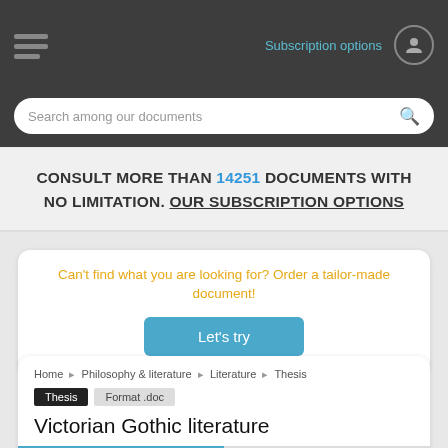Subscription options
Search among our documents
CONSULT MORE THAN 14251 DOCUMENTS WITH NO LIMITATION. OUR SUBSCRIPTION OPTIONS
Can't find what you are looking for? Order a tailor-made document!
Let's try
Home  Philosophy & literature  Literature  Thesis
Thesis  Format .doc
Victorian Gothic literature
Download  Read an extract